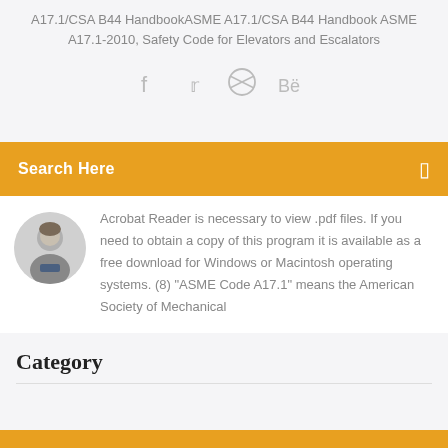A17.1/CSA B44 HandbookASME A17.1/CSA B44 Handbook ASME A17.1-2010, Safety Code for Elevators and Escalators
[Figure (other): Social media icons: Facebook, Twitter, Dribbble, Behance]
Acrobat Reader is necessary to view .pdf files. If you need to obtain a copy of this program it is available as a free download for Windows or Macintosh operating systems. (8) "ASME Code A17.1" means the American Society of Mechanical
Category